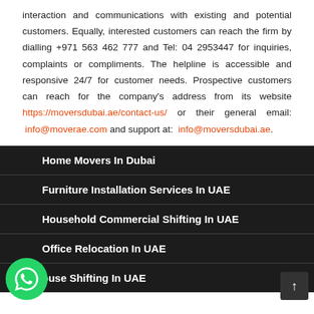interaction and communications with existing and potential customers. Equally, interested customers can reach the firm by dialling +971 563 462 777 and Tel: 04 2953447 for inquiries, complaints or compliments. The helpline is accessible and responsive 24/7 for customer needs. Prospective customers can reach for the company's address from its website https://moversdubai.ae/contact-us/ or their general email: info@moverae.com and support at: info@moversdubai.ae.
Home Movers In Dubai
Furniture Installation Services In UAE
Household Commercial Shifting In UAE
Office Relocation In UAE
House Shifting In UAE